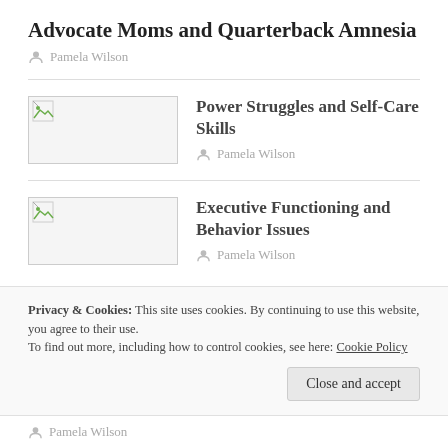Advocate Moms and Quarterback Amnesia
Pamela Wilson
Power Struggles and Self-Care Skills
Pamela Wilson
[Figure (photo): Thumbnail placeholder image with broken image icon]
Executive Functioning and Behavior Issues
Pamela Wilson
[Figure (photo): Thumbnail placeholder image with broken image icon]
Privacy & Cookies: This site uses cookies. By continuing to use this website, you agree to their use.
To find out more, including how to control cookies, see here: Cookie Policy
Close and accept
Pamela Wilson